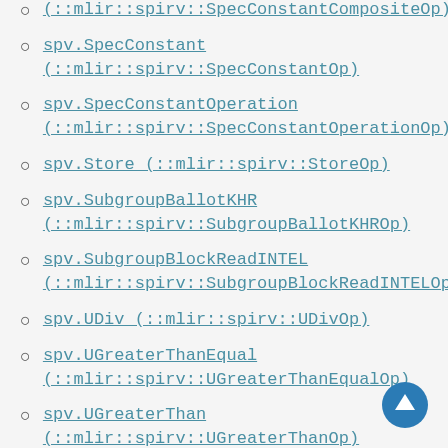(::mlir::spirv::SpecConstantCompositeOp)
spv.SpecConstant (::mlir::spirv::SpecConstantOp)
spv.SpecConstantOperation (::mlir::spirv::SpecConstantOperationOp)
spv.Store (::mlir::spirv::StoreOp)
spv.SubgroupBallotKHR (::mlir::spirv::SubgroupBallotKHROp)
spv.SubgroupBlockReadINTEL (::mlir::spirv::SubgroupBlockReadINTELOp)
spv.UDiv (::mlir::spirv::UDivOp)
spv.UGreaterThanEqual (::mlir::spirv::UGreaterThanEqualOp)
spv.UGreaterThan (::mlir::spirv::UGreaterThanOp)
spv.ULessThanEqual